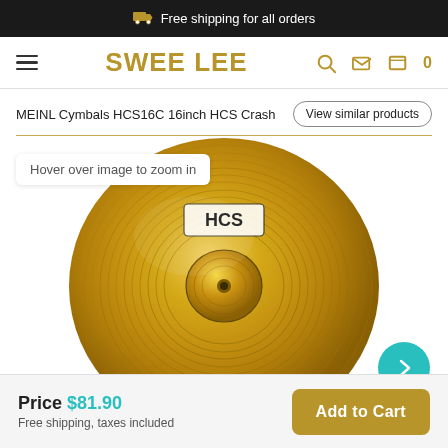Free shipping for all orders
SWEE LEE
MEINL Cymbals HCS16C 16inch HCS Crash
View similar products
[Figure (photo): Hover over image to zoom in — photo of a gold/brass HCS crash cymbal, 16 inch, with 'HCS' label in center, circular grooved ridges visible. A teal circular arrow button appears at bottom right.]
Price $81.90
Free shipping, taxes included
Add to Cart